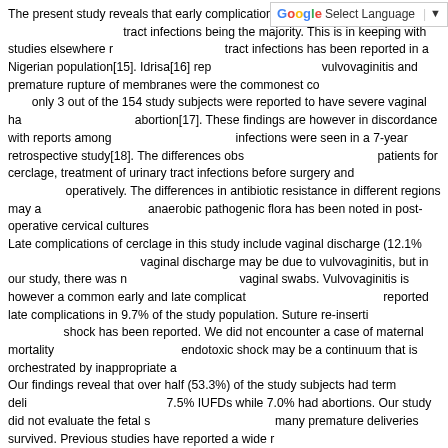[Figure (other): Google Translate 'Select Language' toolbar overlay in top-right corner]
The present study reveals that early complications of cerclage identified in this study include urinary tract infections being the majority. This is in keeping with studies elsewhere reporting that urinary tract infections has been reported in a Nigerian population[15]. Idrisa[16] reported in a study that vulvovaginitis and premature rupture of membranes were the commonest complications seen and that only 3 out of the 154 study subjects were reported to have severe vaginal haemorrhage following abortion[17]. These findings are however in discordance with reports among whom no urinary tract infections were seen in a 7-year retrospective study[18]. The differences observed may be screening patients for cerclage, treatment of urinary tract infections before surgery and administering antibiotics operatively. The differences in antibiotic resistance in different regions may also be a factor. The anaerobic pathogenic flora has been noted in post-operative cervical cultures. Late complications of cerclage in this study include vaginal discharge (12.1% of the study subjects). The vaginal discharge may be due to vulvovaginitis, but in our study, there was no bacterial growth in vaginal swabs. Vulvovaginitis is however a common early and late complication of cerclage. Drakeley reported late complications in 9.7% of the study population. Suture re-insertion and endotoxic shock has been reported. We did not encounter a case of maternal mortality or morbidity. However, endotoxic shock may be a continuum that is orchestrated by inappropriate antibiotic use and resistance. Our findings reveal that over half (53.3%) of the study subjects had term deliveries, 26.9% premature, 7.5% IUFDs while 7.0% had abortions. Our study did not evaluate the fetal survival rates as to how many premature deliveries survived. Previous studies have reported a wide range of live birth rates. For instance, Sobande[18] reported 90% live births, while Jongen[8] reported 43% live births following cerclage. In another study, 69% of mothers delivered at term while 25% had premature deliveries. High rates have been reported in African populations, with Wright[7] reporting a 94% live birth rate and Waboso[15] reported 92.2%. Results of a meta-analysis show a significant reduction in premature delivery rates[12]. However, it is not possible to rule out other causes of abortion and fetal demise in most studies. Drakeley[12] has concluded that the effectiveness of prophylac